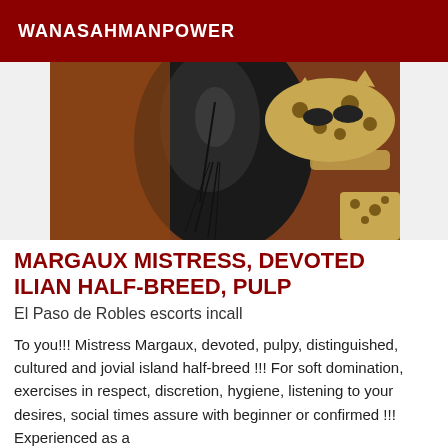WANASAHMANPOWER
[Figure (photo): Photo of a person in leather outfit with leopard print cat mask and fur coat, viewed from above]
MARGAUX MISTRESS, DEVOTED ILIAN HALF-BREED, PULP
El Paso de Robles escorts incall
To you!!! Mistress Margaux, devoted, pulpy, distinguished, cultured and jovial island half-breed !!! For soft domination, exercises in respect, discretion, hygiene, listening to your desires, social times assure with beginner or confirmed !!! Experienced as a